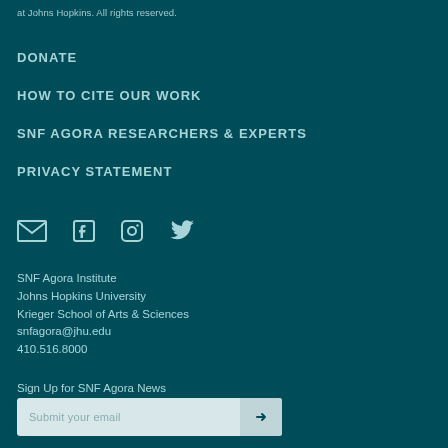at Johns Hopkins. All rights reserved.
DONATE
HOW TO CITE OUR WORK
SNF AGORA RESEARCHERS & EXPERTS
PRIVACY STATEMENT
[Figure (infographic): Social media icons: email envelope, Facebook, Instagram, Twitter]
SNF Agora Institute
Johns Hopkins University
Krieger School of Arts & Sciences
snfagora@jhu.edu
410.516.8000
Sign Up for SNF Agora News
Submit your email